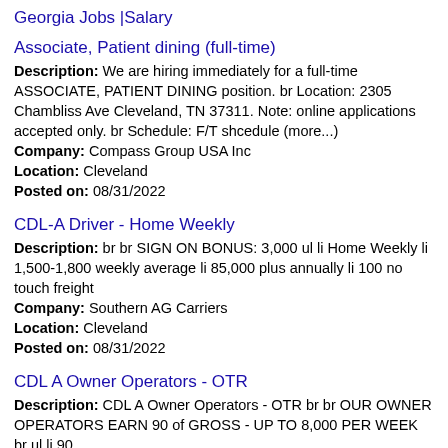Georgia Jobs |Salary
Associate, Patient dining (full-time)
Description: We are hiring immediately for a full-time ASSOCIATE, PATIENT DINING position. br Location: 2305 Chambliss Ave Cleveland, TN 37311. Note: online applications accepted only. br Schedule: F/T shcedule (more...)
Company: Compass Group USA Inc
Location: Cleveland
Posted on: 08/31/2022
CDL-A Driver - Home Weekly
Description: br br SIGN ON BONUS: 3,000 ul li Home Weekly li 1,500-1,800 weekly average li 85,000 plus annually li 100 no touch freight
Company: Southern AG Carriers
Location: Cleveland
Posted on: 08/31/2022
CDL A Owner Operators - OTR
Description: CDL A Owner Operators - OTR br br OUR OWNER OPERATORS EARN 90 of GROSS - UP TO 8,000 PER WEEK br ul li 90
Company: Trans Quality, Inc.
Location: Smyrna
Posted on: 08/31/2022